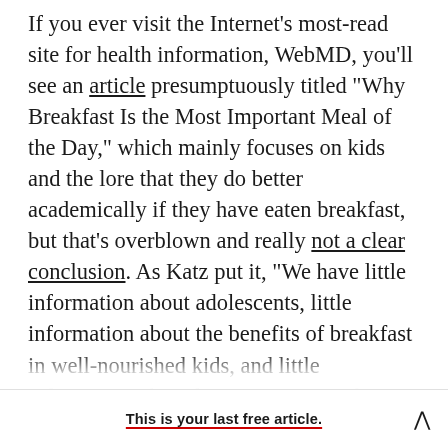If you ever visit the Internet's most-read site for health information, WebMD, you'll see an article presumptuously titled "Why Breakfast Is the Most Important Meal of the Day," which mainly focuses on kids and the lore that they do better academically if they have eaten breakfast, but that's overblown and really not a clear conclusion. As Katz put it, "We have little information about adolescents, little information about the benefits of breakfast in well-nourished kids, and little information about how variation in the composition of breakfast figures into the mix."
This is your last free article.